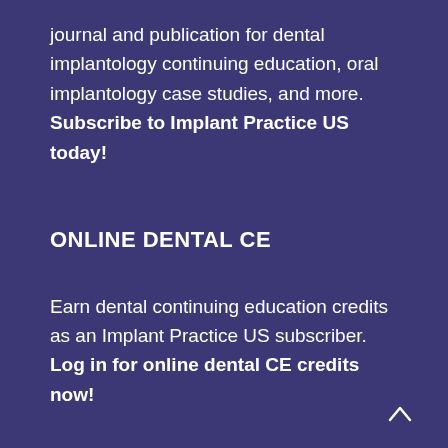journal and publication for dental implantology continuing education, oral implantology case studies, and more. Subscribe to Implant Practice US today!
ONLINE DENTAL CE
Earn dental continuing education credits as an Implant Practice US subscriber. Log in for online dental CE credits now!